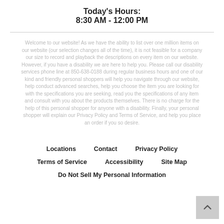Today's Hours:
8:30 AM - 12:00 PM
Welcome to our website! As we have the ability to list over one million items on our website (our selection changes all of the time), it is not feasible for a company our size to record and playback the descriptions on every item on our website. However, if you have a disability we are here to help you. Please call our disability services phone line at 850-638-0188 during regular business hours and one of our kind and friendly personal shoppers will help you navigate through our website, help conduct advanced searches, help you choose the item you are looking for with the specifications you are seeking, read you the specifications of any item and consult with you about the products themselves. There is no charge for the help of this personal shopper for anyone with a disability. Finally, your personal shopper will explain our Privacy Policy and Terms of Service, and help you place an order if you so desire.
Locations
Contact
Privacy Policy
Terms of Service
Accessibility
Site Map
Do Not Sell My Personal Information